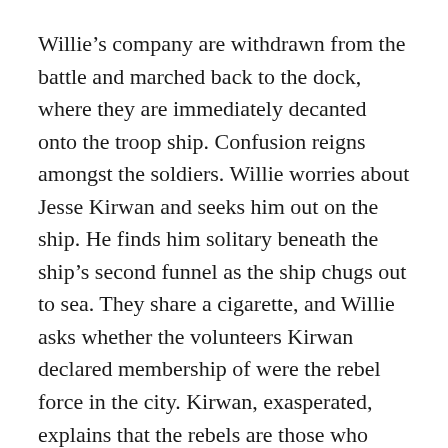Willie's company are withdrawn from the battle and marched back to the dock, where they are immediately decanted onto the troop ship. Confusion reigns amongst the soldiers. Willie worries about Jesse Kirwan and seeks him out on the ship. He finds him solitary beneath the ship's second funnel as the ship chugs out to sea. They share a cigarette, and Willie asks whether the volunteers Kirwan declared membership of were the rebel force in the city. Kirwan, exasperated, explains that the rebels are those who disagreed with Redmond's pledge to aid Britain. Willie, uncomprehending, explains that he is a volunteer too, but Kirwan points out that Willie